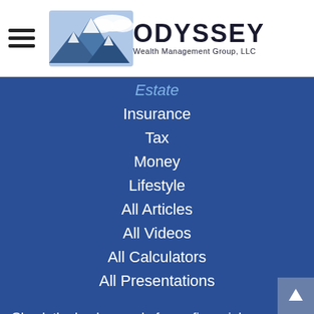[Figure (logo): Odyssey Wealth Management Group, LLC logo with mountain graphic and hamburger menu icon]
Estate
Insurance
Tax
Money
Lifestyle
All Articles
All Videos
All Calculators
All Presentations
Check the background of your financial professional on FINRA's BrokerCheck.
The content is developed from sources believed to be providing accurate information. The information in this material is not intended as tax or legal